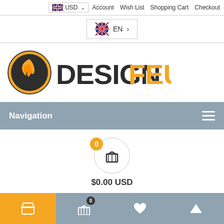USD  Account  Wish List  Shopping Cart  Checkout
EN >
[Figure (logo): DesignFeu logo: orange flame circle icon on left, DESIGN in dark gray bold letters and FEU in orange bold letters on right]
Navigation
$0.00 USD
Cart icon (active, orange background)  Shopping cart with badge 0  Heart icon  Up arrow icon